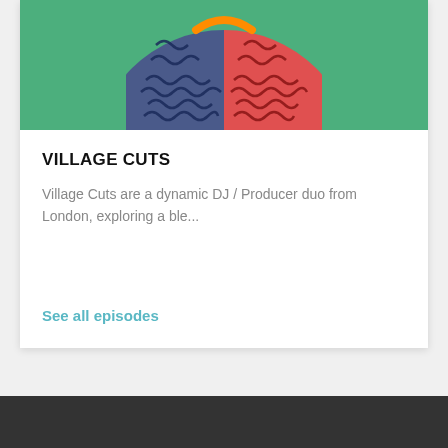[Figure (illustration): Circular album art / logo with colorful abstract wavy pattern on green background — partially cropped at top of card]
VILLAGE CUTS
Village Cuts are a dynamic DJ / Producer duo from London, exploring a ble...
See all episodes